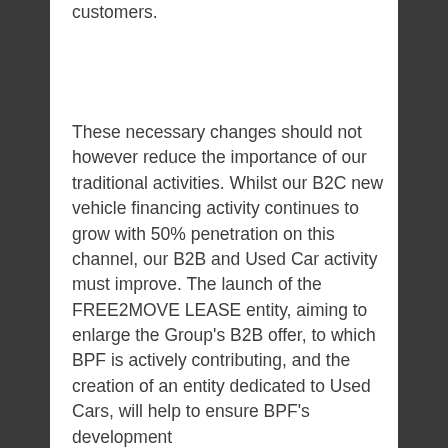customers.
These necessary changes should not however reduce the importance of our traditional activities. Whilst our B2C new vehicle financing activity continues to grow with 50% penetration on this channel, our B2B and Used Car activity must improve. The launch of the FREE2MOVE LEASE entity, aiming to enlarge the Group's B2B offer, to which BPF is actively contributing, and the creation of an entity dedicated to Used Cars, will help to ensure BPF's development